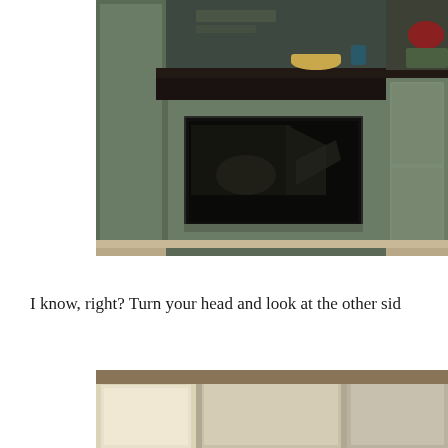[Figure (photo): Kitchen interior photo showing cream/sage colored cabinets with a dark black countertop, built-in microwave in lower cabinet, farmhouse sink visible on right side, items on countertop including bowl and containers, viewed from an angle]
I know, right? Turn your head and look at the other sid
[Figure (photo): Partial kitchen photo showing upper cabinets from below, cream/white cabinet doors visible from angled perspective looking up]